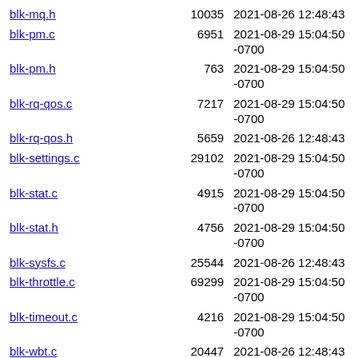| Filename | Size | Date |
| --- | --- | --- |
| blk-mq.h | 10035 | 2021-08-26 12:48:43 |
| blk-pm.c | 6951 | 2021-08-29 15:04:50 -0700 |
| blk-pm.h | 763 | 2021-08-29 15:04:50 -0700 |
| blk-rq-qos.c | 7217 | 2021-08-29 15:04:50 -0700 |
| blk-rq-qos.h | 5659 | 2021-08-26 12:48:43 |
| blk-settings.c | 29102 | 2021-08-29 15:04:50 -0700 |
| blk-stat.c | 4915 | 2021-08-29 15:04:50 -0700 |
| blk-stat.h | 4756 | 2021-08-29 15:04:50 -0700 |
| blk-sysfs.c | 25544 | 2021-08-26 12:48:43 |
| blk-throttle.c | 69299 | 2021-08-29 15:04:50 -0700 |
| blk-timeout.c | 4216 | 2021-08-29 15:04:50 -0700 |
| blk-wbt.c | 20447 | 2021-08-26 12:48:43 |
| blk-wbt.h | 2849 | 2021-08-29 15:04:50 -0700 |